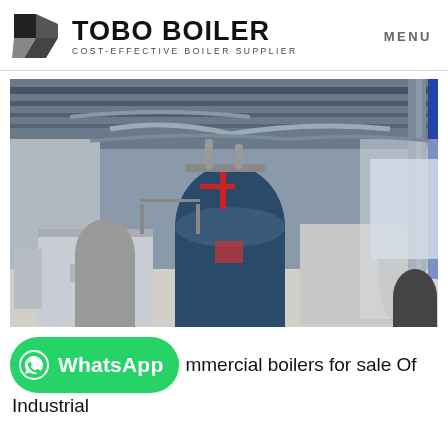TOBO BOILER — COST-EFFECTIVE BOILER SUPPLIER | MENU
[Figure (photo): Industrial boiler facility interior showing large blue cylindrical boiler and horizontal tank in a steel-framed warehouse with piping overhead]
mmercial boilers for sale Of Industrial